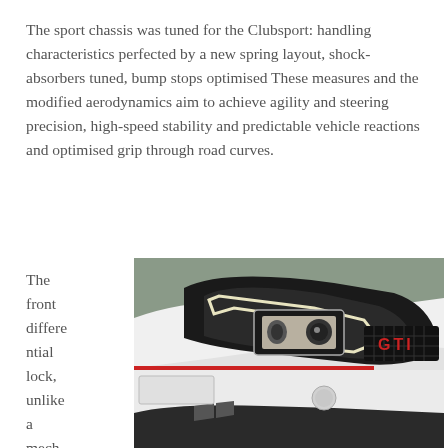The sport chassis was tuned for the Clubsport: handling characteristics perfected by a new spring layout, shock-absorbers tuned, bump stops optimised These measures and the modified aerodynamics aim to achieve agility and steering precision, high-speed stability and predictable vehicle reactions and optimised grip through road curves.
The front differential lock, unlike a mechanical lock,
[Figure (photo): Close-up front corner photo of a white Volkswagen Golf GTI showing the LED headlight, GTI badge on the grille, and front bumper styling.]